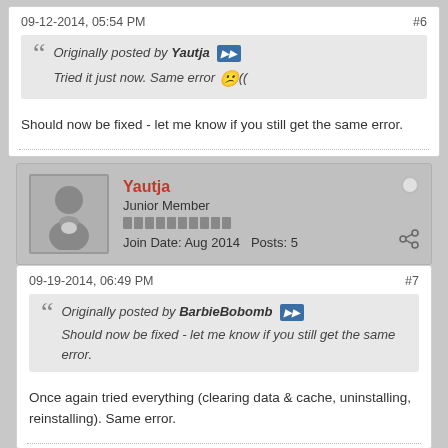09-12-2014, 05:54 PM
#6
Originally posted by Yautja
Tried it just now. Same error 🤔((
Should now be fixed - let me know if you still get the same error.
Yautja
Junior Member
Join Date: Aug 2014    Posts: 5
09-19-2014, 06:49 PM
#7
Originally posted by BarbieBobomb
Should now be fixed - let me know if you still get the same error.
Once again tried everything (clearing data & cache, uninstalling, reinstalling). Same error.